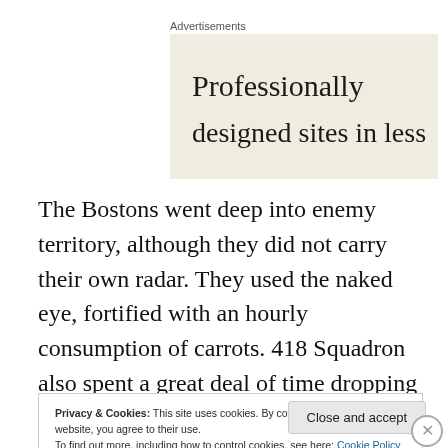Advertisements
[Figure (illustration): Advertisement banner with cream/beige background showing text 'Professionally designed sites in less']
The Bostons went deep into enemy territory, although they did not carry their own radar. They used the naked eye, fortified with an hourly consumption of carrots. 418 Squadron also spent a great deal of time dropping
Privacy & Cookies: This site uses cookies. By continuing to use this website, you agree to their use. To find out more, including how to control cookies, see here: Cookie Policy
Close and accept